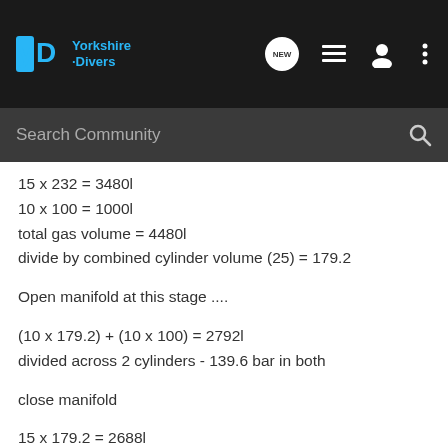[Figure (screenshot): Yorkshire Divers website top navigation bar with logo, NEW chat icon, list icon, user icon, and three-dot menu icon]
Search Community
15 x 232 = 3480l
10 x 100 = 1000l
total gas volume = 4480l
divide by combined cylinder volume (25) = 179.2
Open manifold at this stage ....
(10 x 179.2) + (10 x 100) = 2792l
divided across 2 cylinders - 139.6 bar in both
close manifold
15 x 179.2 = 2688l
10 x 139.6 = 1396l
total gas volume = 4084l